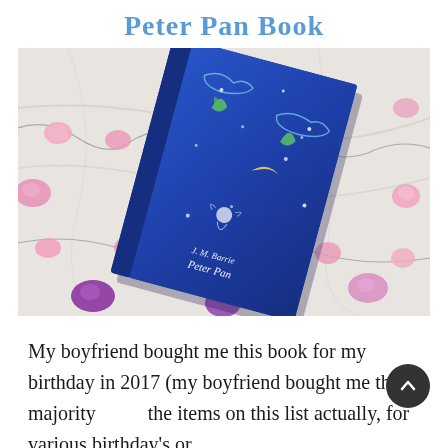Peter Pan Book
[Figure (photo): A blue Peter Pan hardcover book with illustrated cover featuring clouds, stars, crescent moon, and a figure, lying on a marble surface surrounded by pink heart-shaped fairy lights and purple gems.]
My boyfriend bought me this book for my birthday in 2017 (my boyfriend bought me the majority of the items on this list actually, for various birthday's or